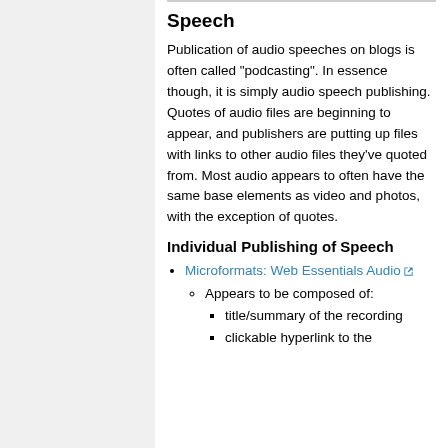Speech
Publication of audio speeches on blogs is often called "podcasting". In essence though, it is simply audio speech publishing. Quotes of audio files are beginning to appear, and publishers are putting up files with links to other audio files they've quoted from. Most audio appears to often have the same base elements as video and photos, with the exception of quotes.
Individual Publishing of Speech
Microformats: Web Essentials Audio
Appears to be composed of:
title/summary of the recording
clickable hyperlink to the